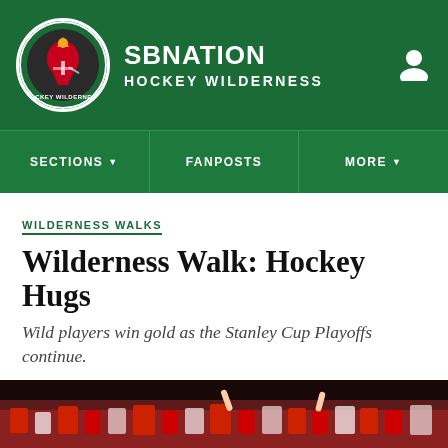SB NATION / HOCKEY WILDERNESS
[Figure (logo): SB Nation Hockey Wilderness circular logo with red and green design]
WILDERNESS WALKS
Wilderness Walk: Hockey Hugs
Wild players win gold as the Stanley Cup Playoffs continue.
By Greguisition | May 22, 2017, 8:33am CDT
[Figure (photo): Crowd at a hockey game, bottom strip image]